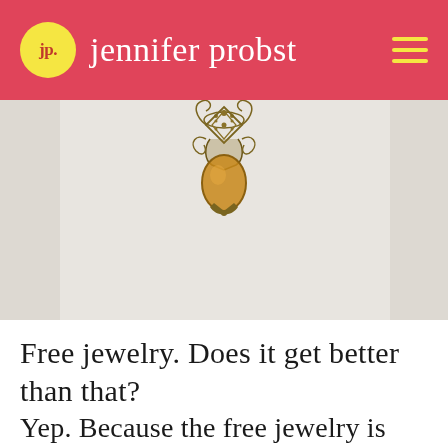jp. jennifer probst
[Figure (photo): A gold/bronze antique filigree pendant jewelry piece with amber-colored gemstone, photographed against a white/light background.]
Free jewelry. Does it get better than that?
Yep. Because the free jewelry is also one of a kind.